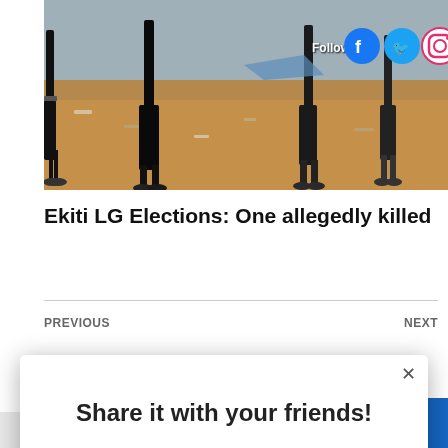[Figure (photo): Photo of people standing on dirt ground, partial view of legs and feet. Social media Follow buttons (Facebook, Twitter, Instagram) overlaid in top right corner.]
Ekiti LG Elections: One allegedly killed
PREVIOUS
NEXT
[Figure (screenshot): Modal popup dialog with close X button, text 'Share it with your friends!' and a WhatsApp green share button icon.]
SEARCH THIS BLOG
AddThis